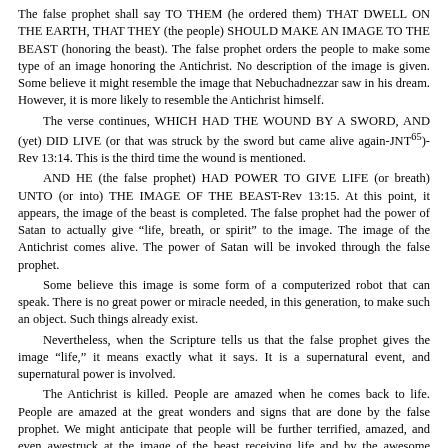The false prophet shall say TO THEM (he ordered them) THAT DWELL ON THE EARTH, THAT THEY (the people) SHOULD MAKE AN IMAGE TO THE BEAST (honoring the beast). The false prophet orders the people to make some type of an image honoring the Antichrist. No description of the image is given. Some believe it might resemble the image that Nebuchadnezzar saw in his dream. However, it is more likely to resemble the Antichrist himself.
The verse continues, WHICH HAD THE WOUND BY A SWORD, AND (yet) DID LIVE (or that was struck by the sword but came alive again-JNT65)-Rev 13:14. This is the third time the wound is mentioned.
AND HE (the false prophet) HAD POWER TO GIVE LIFE (or breath) UNTO (or into) THE IMAGE OF THE BEAST-Rev 13:15. At this point, it appears, the image of the beast is completed. The false prophet had the power of Satan to actually give "life, breath, or spirit" to the image. The image of the Antichrist comes alive. The power of Satan will be invoked through the false prophet.
Some believe this image is some form of a computerized robot that can speak. There is no great power or miracle needed, in this generation, to make such an object. Such things already exist.
Nevertheless, when the Scripture tells us that the false prophet gives the image "life," it means exactly what it says. It is a supernatural event, and supernatural power is involved.
The Antichrist is killed. People are amazed when he comes back to life. People are amazed at the great wonders and signs that are done by the false prophet. We might anticipate that people will be further terrified, amazed, and even awestruck at the image of the beast receiving life and by the awesome powers they see. Undoubtedly, they will think that this is the great power of God. They will believe that Satan is the true God and the Antichrist is the real Christ.
123-THE WORSHIP OF THE IMAGE